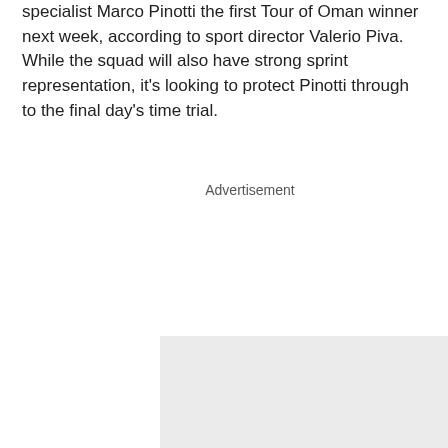specialist Marco Pinotti the first Tour of Oman winner next week, according to sport director Valerio Piva. While the squad will also have strong sprint representation, it's looking to protect Pinotti through to the final day's time trial.
[Figure (other): Advertisement placeholder box with light gray background and 'Advertisement' label text]